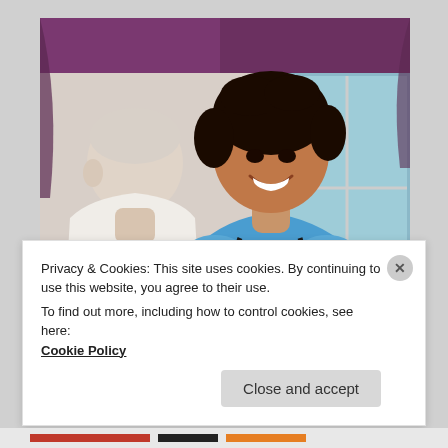[Figure (photo): A smiling Black female nurse in blue scrubs with a stethoscope, talking to an elderly white-haired male patient. Room background with purple curtain and window.]
valley health Registered Nurse
Privacy & Cookies: This site uses cookies. By continuing to use this website, you agree to their use.
To find out more, including how to control cookies, see here:
Cookie Policy
Close and accept